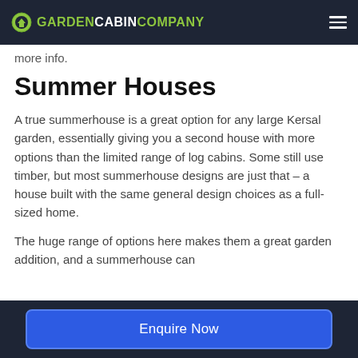GARDEN CABIN COMPANY
more info.
Summer Houses
A true summerhouse is a great option for any large Kersal garden, essentially giving you a second house with more options than the limited range of log cabins. Some still use timber, but most summerhouse designs are just that – a house built with the same general design choices as a full-sized home.
The huge range of options here makes them a great garden addition, and a summerhouse can
Enquire Now